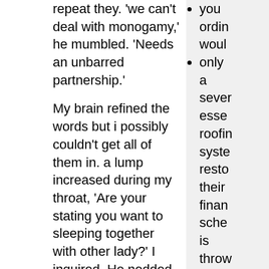repeat they. 'we can't deal with monogamy,' he mumbled. 'Needs an unbarred partnership.'
My brain refined the words but i possibly couldn't get all of them in. a lump increased during my throat, 'Are your stating you want to sleeping together with other lady?' I inquired. He nodded. 'And that you're okay with me sleeping with other boys?' 'Yes,' the guy said quietly. 'And if I don't consent?' We stated, although from their mindset of peaceful certainty, I currently understood the clear answer. 'Then we can't stick to your.'
It's amusing how your whole business can turn upside-down in some shots for the windscreen wipers. The ironic thing
you ordin would
only a sever esse roofin syste resto their finan sche is thro dow
The affirm